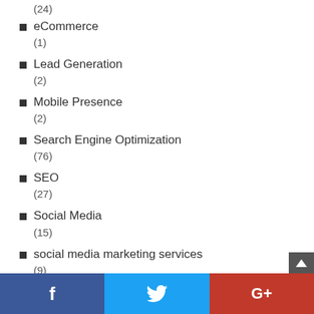(24)
eCommerce
(1)
Lead Generation
(2)
Mobile Presence
(2)
Search Engine Optimization
(76)
SEO
(27)
Social Media
(15)
social media marketing services
(9)
f  [Twitter bird]  G+